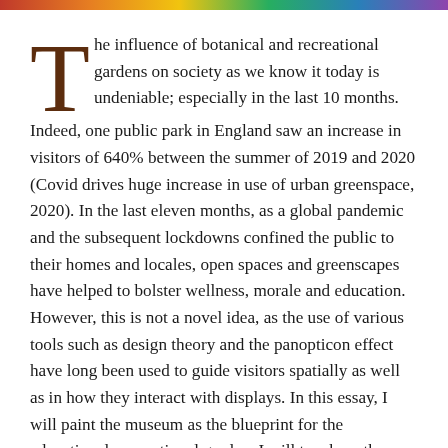[Figure (photo): Colorful flower image strip at the top of the page]
The influence of botanical and recreational gardens on society as we know it today is undeniable; especially in the last 10 months. Indeed, one public park in England saw an increase in visitors of 640% between the summer of 2019 and 2020 (Covid drives huge increase in use of urban greenspace, 2020). In the last eleven months, as a global pandemic and the subsequent lockdowns confined the public to their homes and locales, open spaces and greenscapes have helped to bolster wellness, morale and education. However, this is not a novel idea, as the use of various tools such as design theory and the panopticon effect have long been used to guide visitors spatially as well as in how they interact with displays. In this essay, I will paint the museum as the blueprint for the educational, recreational garden. I will touch on the historical purpose of public gardens, their role in bringing communities